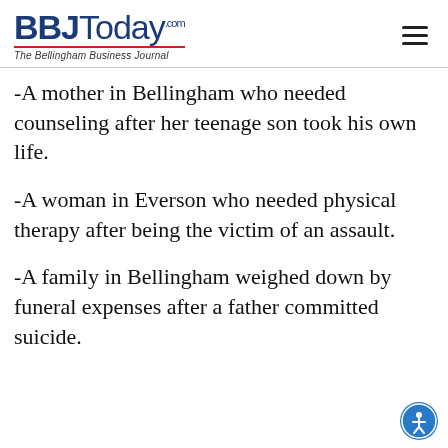BBJToday.com — The Bellingham Business Journal
-A mother in Bellingham who needed counseling after her teenage son took his own life.
-A woman in Everson who needed physical therapy after being the victim of an assault.
-A family in Bellingham weighed down by funeral expenses after a father committed suicide.